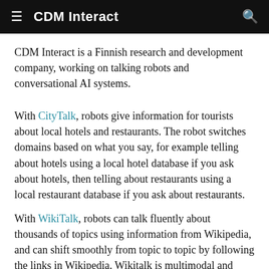CDM Interact
CDM Interact is a Finnish research and development company, working on talking robots and conversational AI systems.
With CityTalk, robots give information for tourists about local hotels and restaurants. The robot switches domains based on what you say, for example telling about hotels using a local hotel database if you ask about hotels, then telling about restaurants using a local restaurant database if you ask about restaurants.
With WikiTalk, robots can talk fluently about thousands of topics using information from Wikipedia, and can shift smoothly from topic to topic by following the links in Wikipedia. Wikitalk is multimodal and multilingual, integrating face-tracking, nodding and communicative gesturing with speech synthesis and speech recognition in English